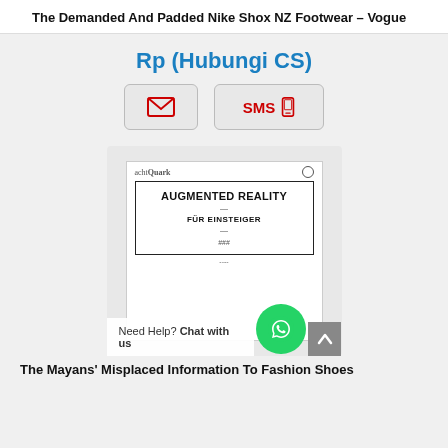The Demanded And Padded Nike Shox NZ Footwear – Vogue
Rp (Hubungi CS)
[Figure (screenshot): Two buttons: an email envelope icon button and an SMS with phone icon button, both styled as grey rounded buttons with red icons/text.]
[Figure (screenshot): A screenshot of a book cover app showing 'achtQuark' logo with a book titled 'AUGMENTED REALITY FÜR EINSTEIGER' displayed inside a white bordered box on grey background.]
Need Help? Chat with us
The Mayans' Misplaced Information To Fashion Shoes